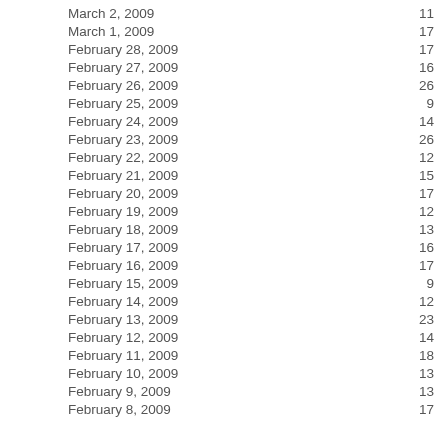| Date | Value |
| --- | --- |
| March 2, 2009 | 11 |
| March 1, 2009 | 17 |
| February 28, 2009 | 17 |
| February 27, 2009 | 16 |
| February 26, 2009 | 26 |
| February 25, 2009 | 9 |
| February 24, 2009 | 14 |
| February 23, 2009 | 26 |
| February 22, 2009 | 12 |
| February 21, 2009 | 15 |
| February 20, 2009 | 17 |
| February 19, 2009 | 12 |
| February 18, 2009 | 13 |
| February 17, 2009 | 16 |
| February 16, 2009 | 17 |
| February 15, 2009 | 9 |
| February 14, 2009 | 12 |
| February 13, 2009 | 23 |
| February 12, 2009 | 14 |
| February 11, 2009 | 18 |
| February 10, 2009 | 13 |
| February 9, 2009 | 13 |
| February 8, 2009 | 17 |